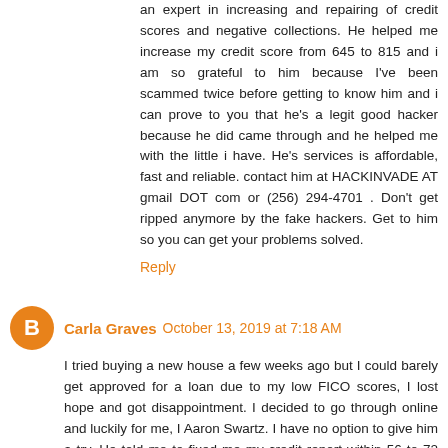an expert in increasing and repairing of credit scores and negative collections. He helped me increase my credit score from 645 to 815 and i am so grateful to him because I've been scammed twice before getting to know him and i can prove to you that he's a legit good hacker because he did came through and he helped me with the little i have. He's services is affordable, fast and reliable. contact him at HACKINVADE AT gmail DOT com or (256) 294-4701 . Don't get ripped anymore by the fake hackers. Get to him so you can get your problems solved.
Reply
Carla Graves October 13, 2019 at 7:18 AM
I tried buying a new house a few weeks ago but I could barely get approved for a loan due to my low FICO scores, I lost hope and got disappointment. I decided to go through online and luckily for me, I Aaron Swartz. I have no option to give him a try, He told me to fixed me my credit report within 56 to 72 hours. He succeeded in raising my score to 820 excellent plus and He also help me deleted negative items impacting my credit report. He is the best and swift